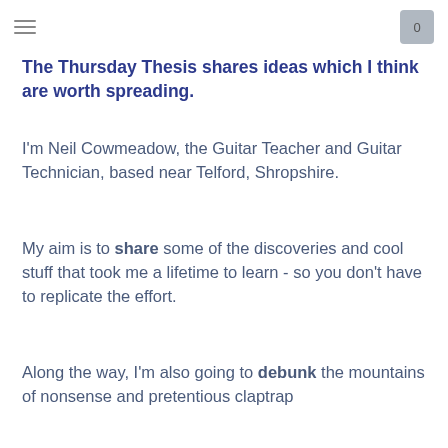≡  0
The Thursday Thesis shares ideas which I think are worth spreading.
I'm Neil Cowmeadow, the Guitar Teacher and Guitar Technician, based near Telford, Shropshire.
My aim is to share some of the discoveries and cool stuff that took me a lifetime to learn - so you don't have to replicate the effort.
Along the way, I'm also going to debunk the mountains of nonsense and pretentious claptrap